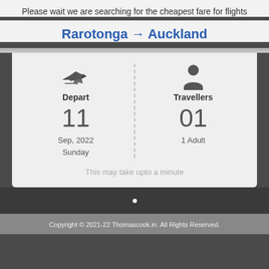Please wait we are searching for the cheapest fare for flights
Rarotonga → Auckland
[Figure (infographic): Flight search loading screen showing depart and travellers info: Depart 11 Sep, 2022 Sunday | Travellers 01 1 Adult]
This may take upto a minute
Copyright © 2021-22 Thomascook.in. All Rights Reserved.